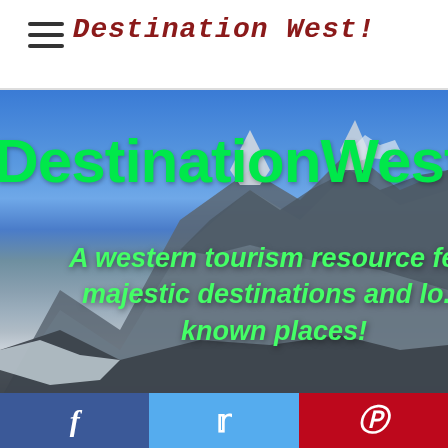Destination West!
[Figure (photo): Hero image of a snow-capped mountain peak against a blue sky with overlaid text 'DestinationWest' and 'A western tourism resource fe... majestic destinations and lo... known places!']
DestinationWest
A western tourism resource featuring majestic destinations and lesser known places!
Facebook | Twitter | Pinterest social share buttons